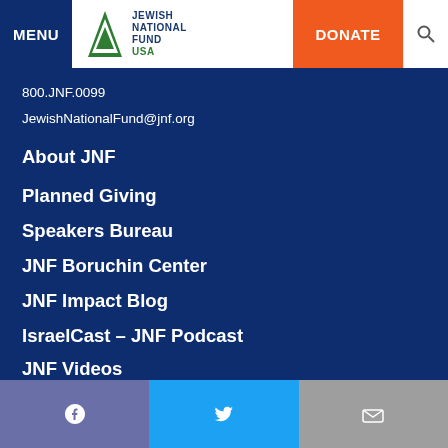MENU | Jewish National Fund USA | DONATE
800.JNF.0099
JewishNationalFund@jnf.org
About JNF
Planned Giving
Speakers Bureau
JNF Boruchin Center
JNF Impact Blog
IsraelCast – JNF Podcast
JNF Videos
Leadership
News & Media
Employment Opportunities
Privacy Policy
Facebook | Twitter | Email